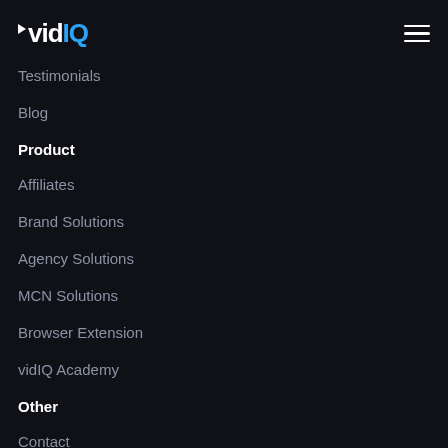vidIQ
Testimonials
Blog
Product
Affiliates
Brand Solutions
Agency Solutions
MCN Solutions
Browser Extension
vidIQ Academy
Other
Contact